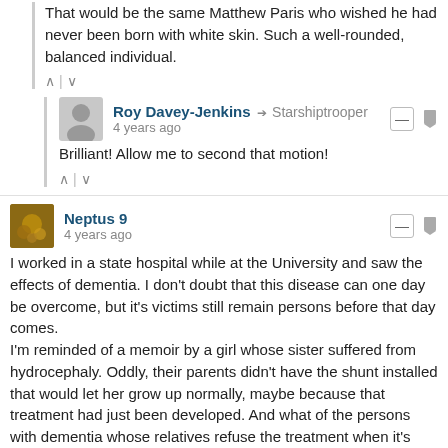That would be the same Matthew Paris who wished he had never been born with white skin. Such a well-rounded, balanced individual.
Roy Davey-Jenkins → Starshiptrooper
4 years ago
Brilliant! Allow me to second that motion!
Neptus 9
4 years ago
I worked in a state hospital while at the University and saw the effects of dementia. I don't doubt that this disease can one day be overcome, but it's victims still remain persons before that day comes.
I'm reminded of a memoir by a girl whose sister suffered from hydrocephaly. Oddly, their parents didn't have the shunt installed that would let her grow up normally, maybe because that treatment had just been developed. And what of the persons with dementia whose relatives refuse the treatment when it's discovered -- it's like being the last person killed in a war.